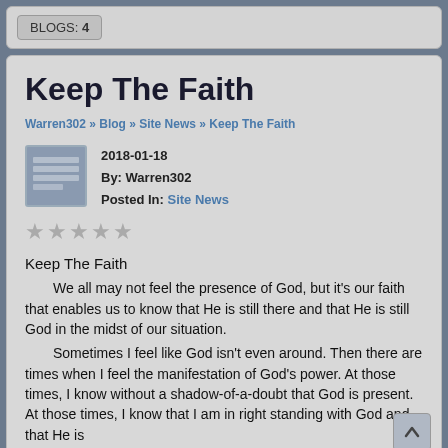BLOGS: 4
Keep The Faith
Warren302 » Blog » Site News » Keep The Faith
2018-01-18
By: Warren302
Posted In: Site News
Keep The Faith
We all may not feel the presence of God, but it's our faith that enables us to know that He is still there and that He is still God in the midst of our situation. Sometimes I feel like God isn't even around. Then there are times when I feel the manifestation of God's power. At those times, I know without a shadow-of-a-doubt that God is present. At those times, I know that I am in right standing with God and that He is